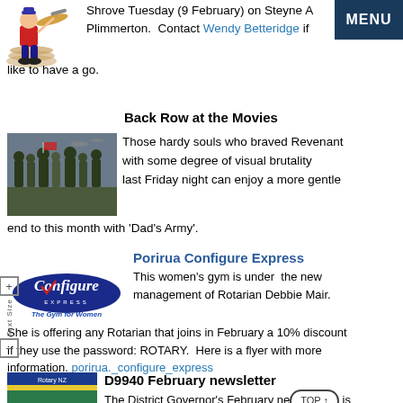[Figure (illustration): Cartoon character flipping pancakes]
Shrove Tuesday (9 February) on Steyne A... Plimmerton. Contact Wendy Betteridge if like to have a go.
Back Row at the Movies
[Figure (photo): Photo of soldiers from Dad's Army movie]
Those hardy souls who braved Revenant with some degree of visual brutality last Friday night can enjoy a more gentle end to this month with 'Dad's Army'.
Porirua Configure Express
[Figure (logo): Configure Express - The Gym for Women logo]
This women's gym is under the new management of Rotarian Debbie Mair. She is offering any Rotarian that joins in February a 10% discount if they use the password: ROTARY. Here is a flyer with more information. porirua._configure_express
D9940 February newsletter
[Figure (photo): D9940 February newsletter cover image]
The District Governor's February newsletter is now available for you to read. You can find it